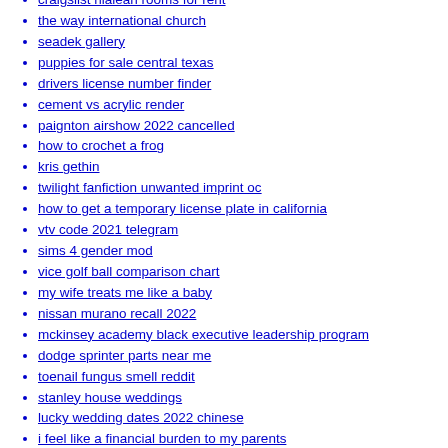craigslist hialeah rooms for rent
the way international church
seadek gallery
puppies for sale central texas
drivers license number finder
cement vs acrylic render
paignton airshow 2022 cancelled
how to crochet a frog
kris gethin
twilight fanfiction unwanted imprint oc
how to get a temporary license plate in california
vtv code 2021 telegram
sims 4 gender mod
vice golf ball comparison chart
my wife treats me like a baby
nissan murano recall 2022
mckinsey academy black executive leadership program
dodge sprinter parts near me
toenail fungus smell reddit
stanley house weddings
lucky wedding dates 2022 chinese
i feel like a financial burden to my parents
kucoin future bonus
lds music app
swatara township most wanted